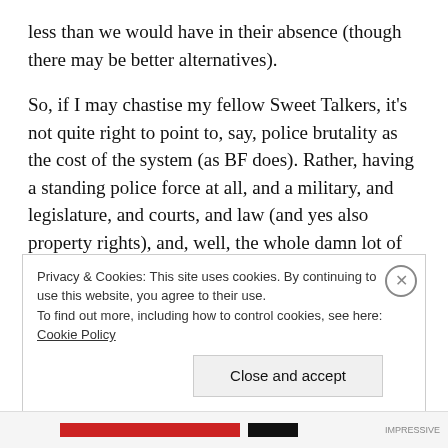less than we would have in their absence (though there may be better alternatives).
So, if I may chastise my fellow Sweet Talkers, it's not quite right to point to, say, police brutality as the cost of the system (as BF does). Rather, having a standing police force at all, and a military, and legislature, and courts, and law (and yes also property rights), and, well, the whole damn lot of it, is the cost of the system.
Privacy & Cookies: This site uses cookies. By continuing to use this website, you agree to their use. To find out more, including how to control cookies, see here: Cookie Policy